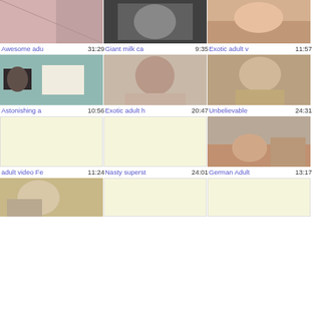[Figure (screenshot): Video thumbnail grid row 1: three adult video thumbnails]
Awesome adu  31:29   Giant milk ca  9:35   Exotic adult v  11:57
[Figure (screenshot): Video thumbnail grid row 2: three adult video thumbnails]
Astonishing a  10:56   Exotic adult h  20:47   Unbelievable  24:31
[Figure (screenshot): Video thumbnail grid row 3: placeholder placeholders and one real thumbnail]
adult video Fe  11:24   Nasty superst  24:01   German Adult  13:17
[Figure (screenshot): Video thumbnail grid row 4: partial row with thumbnails]